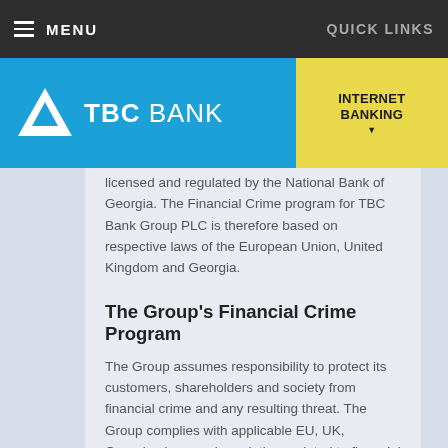MENU   QUICK LINKS
[Figure (logo): TBC Bank logo with triangle icon on blue background, and INTERNET BANKING button on yellow background]
licensed and regulated by the National Bank of Georgia. The Financial Crime program for TBC Bank Group PLC is therefore based on respective laws of the European Union, United Kingdom and Georgia.
The Group's Financial Crime Program
The Group assumes responsibility to protect its customers, shareholders and society from financial crime and any resulting threat. The Group complies with applicable EU, UK, Georgian laws and regulations related to financial crime as well as relevant legislation of other countries where Group member Financial Institutions operate . It is also fully committed to comply with respective industry